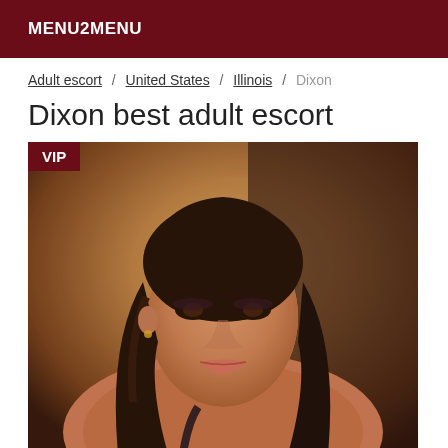MENU2MENU
Adult escort / United States / Illinois / Dixon
Dixon best adult escort
[Figure (photo): Portrait photo of a young woman with long dark hair and makeup, with a VIP badge in the top-left corner]